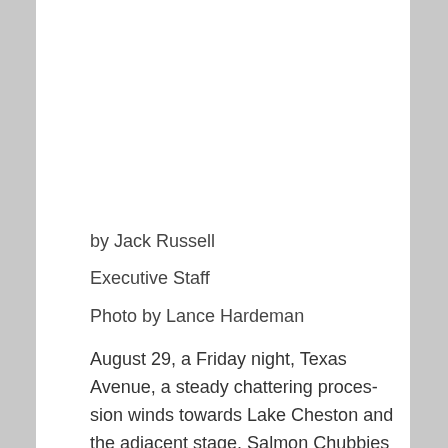by Jack Russell
Executive Staff
Photo by Lance Hardeman
August 29, a Friday night, Texas Avenue, a steady chattering proces-sion winds towards Lake Cheston and the adjacent stage. Salmon Chubbies & Polos, Chacos, and unseasonal Lulu